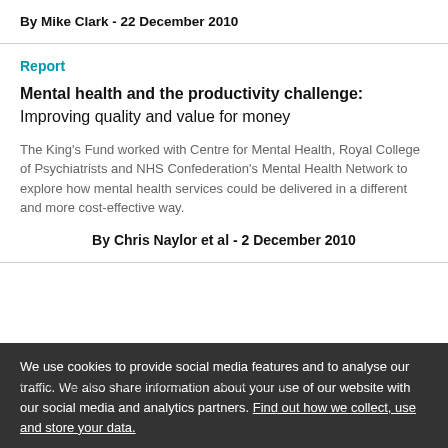By Mike Clark - 22 December 2010
Report
Mental health and the productivity challenge: Improving quality and value for money
The King's Fund worked with Centre for Mental Health, Royal College of Psychiatrists and NHS Confederation's Mental Health Network to explore how mental health services could be delivered in a different and more cost-effective way.
By Chris Naylor et al - 2 December 2010
We use cookies to provide social media features and to analyse our traffic. We also share information about your use of our website with our social media and analytics partners. Find out how we collect, use and store your data.